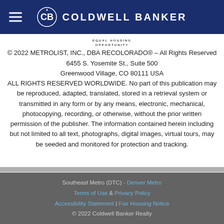[Figure (logo): Coldwell Banker logo with hamburger menu icon on dark navy blue header bar]
EQUAL HOUSING
OPPORTUNITY
© 2022 METROLIST, INC., DBA RECOLORADO® – All Rights Reserved
6455 S. Yosemite St., Suite 500
Greenwood Village, CO 80111 USA
ALL RIGHTS RESERVED WORLDWIDE. No part of this publication may be reproduced, adapted, translated, stored in a retrieval system or transmitted in any form or by any means, electronic, mechanical, photocopying, recording, or otherwise, without the prior written permission of the publisher. The information contained herein including but not limited to all text, photographs, digital images, virtual tours, may be seeded and monitored for protection and tracking.
Southeast Metro (DTC) - Denver Metro
Terms of Use  &  Privacy Policy
Accessibility Statement | Fair Housing Notice
© 2022 Coldwell Banker Realty